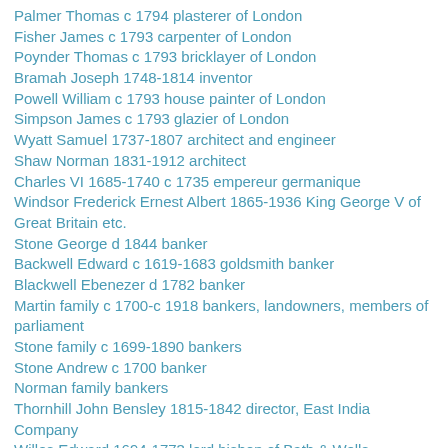Palmer Thomas c 1794 plasterer of London
Fisher James c 1793 carpenter of London
Poynder Thomas c 1793 bricklayer of London
Bramah Joseph 1748-1814 inventor
Powell William c 1793 house painter of London
Simpson James c 1793 glazier of London
Wyatt Samuel 1737-1807 architect and engineer
Shaw Norman 1831-1912 architect
Charles VI 1685-1740 c 1735 empereur germanique
Windsor Frederick Ernest Albert 1865-1936 King George V of Great Britain etc.
Stone George d 1844 banker
Backwell Edward c 1619-1683 goldsmith banker
Blackwell Ebenezer d 1782 banker
Martin family c 1700-c 1918 bankers, landowners, members of parliament
Stone family c 1699-1890 bankers
Stone Andrew c 1700 banker
Norman family bankers
Thornhill John Bensley 1815-1842 director, East India Company
Willes Edward 1694-1773 lord bishop of Bath & Wells
Walter John 1739-1812 publisher, founder of The Times
Woodhull Victoria C. 1838-1927 social campaigner